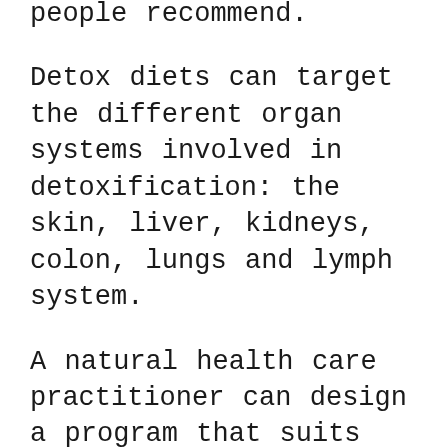people recommend.
Detox diets can target the different organ systems involved in detoxification: the skin, liver, kidneys, colon, lungs and lymph system.
A natural health care practitioner can design a program that suits your needs by targeting specific organ systems.
For example, a person with a skin condition may benefit from a program that addresses the liver